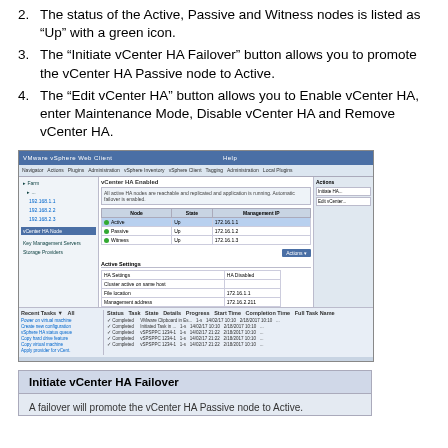2. The status of the Active, Passive and Witness nodes is listed as “Up” with a green icon.
3. The “Initiate vCenter HA Failover” button allows you to promote the vCenter HA Passive node to Active.
4. The “Edit vCenter HA” button allows you to Enable vCenter HA, enter Maintenance Mode, Disable vCenter HA and Remove vCenter HA.
[Figure (screenshot): Screenshot of vSphere Web Client showing vCenter HA configuration page with Active, Passive, and Witness nodes listed as Up with green icons, and a task list at the bottom.]
[Figure (screenshot): Initiate vCenter HA Failover dialog box with bold title and introductory note text at the bottom of the page.]